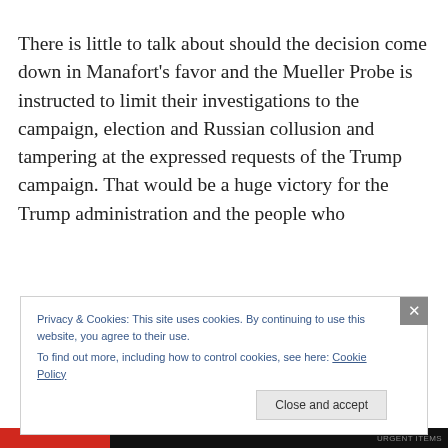There is little to talk about should the decision come down in Manafort's favor and the Mueller Probe is instructed to limit their investigations to the campaign, election and Russian collusion and tampering at the expressed requests of the Trump campaign. That would be a huge victory for the Trump administration and the people who
Privacy & Cookies: This site uses cookies. By continuing to use this website, you agree to their use.
To find out more, including how to control cookies, see here: Cookie Policy